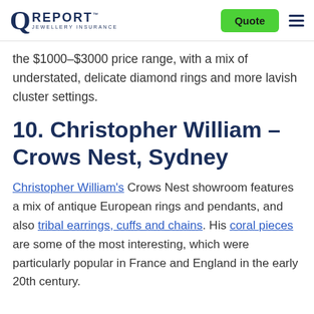Q REPORT JEWELLERY INSURANCE | Quote
the $1000–$3000 price range, with a mix of understated, delicate diamond rings and more lavish cluster settings.
10. Christopher William – Crows Nest, Sydney
Christopher William's Crows Nest showroom features a mix of antique European rings and pendants, and also tribal earrings, cuffs and chains. His coral pieces are some of the most interesting, which were particularly popular in France and England in the early 20th century.